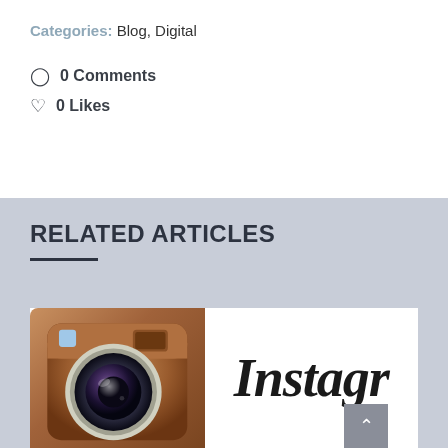Categories: Blog, Digital
0 Comments
0 Likes
RELATED ARTICLES
[Figure (photo): Instagram logo showing a brown/leather-textured camera icon on the left and the text 'Instagr' (partially visible) on the right]